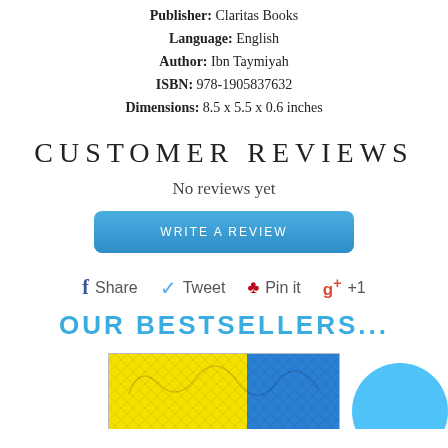Publisher: Claritas Books
Language: English
Author: Ibn Taymiyah
ISBN: 978-1905837632
Dimensions: 8.5 x 5.5 x 0.6 inches
CUSTOMER REVIEWS
No reviews yet
WRITE A REVIEW
f Share   Tweet   Pin it   g+ +1
OUR BESTSELLERS...
[Figure (photo): Partial view of a book cover with yellow and blue geometric/floral pattern design]